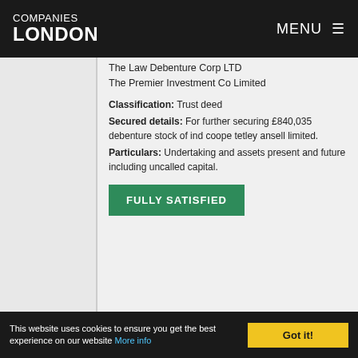COMPANIES LONDON   MENU
The Law Debenture Corp LTD
The Premier Investment Co Limited

Classification: Trust deed
Secured details: For further securing £840,035 debenture stock of ind coope tetley ansell limited.
Particulars: Undertaking and assets present and future including uncalled capital.

FULLY SATISFIED
21 July 1956

Delivered on: 30 July 1956
Satisfied on: 15 September 1994
Persons entitled: The Law Debenture
This website uses cookies to ensure you get the best experience on our website More info   Got it!